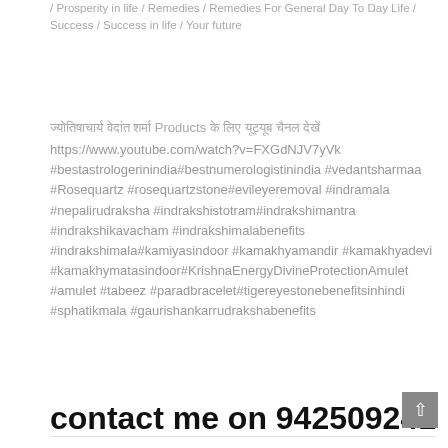/ Prosperity in life / Remedies / Remedies For General Day To Day Life / Success / Success in life / Your future
ज्योतिषाचार्य वेदांत शर्मा Products के लिए यूट्यूब चैनल देखें https://www.youtube.com/watch?v=FXGdNJV7yVk #bestastrologerinindia#bestnumerologistinindia #vedantsharmaa #Rosequartz #rosequartzstone#evileyeremoval #indramala #nepalirudraksha #indrakshistotram#indrakshimantra #indrakshikavacham #indrakshimalabenefits #indrakshimala#kamiyasindoor #kamakhyamandir #kamakhyadevi #kamakhymatasindoor#KrishnaEnergyDivineProtectionAmulet #amulet #tabeez #paradbracelet#tigereyestonebenefitsinhindi #sphatikmala #gaurishankarrudrakshabenefits
Continue Reading ›
contact me on 9425092415 for ur